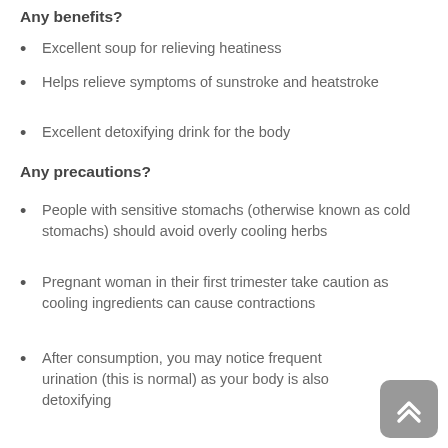Any benefits?
Excellent soup for relieving heatiness
Helps relieve symptoms of sunstroke and heatstroke
Excellent detoxifying drink for the body
Any precautions?
People with sensitive stomachs (otherwise known as cold stomachs) should avoid overly cooling herbs
Pregnant woman in their first trimester take caution as cooling ingredients can cause contractions
After consumption, you may notice frequent urination (this is normal) as your body is also detoxifying